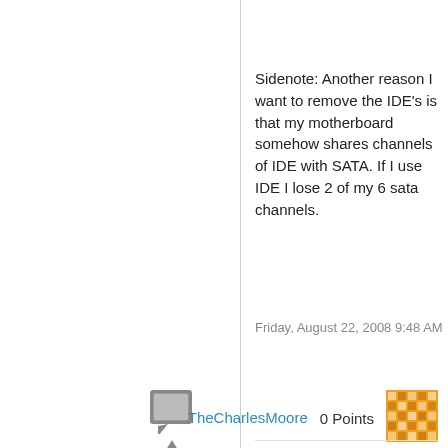Sidenote: Another reason I want to remove the IDE's is that my motherboard somehow shares channels of IDE with SATA. If I use IDE I lose 2 of my 6 sata channels.
Friday, August 22, 2008 9:48 AM
TheCharlesMoore
0 Points
[Figure (other): Orange avatar/user icon with decorative pattern]
[Figure (other): Grey reply/comment icon button]
[Figure (other): Grey upvote triangle arrow icon]